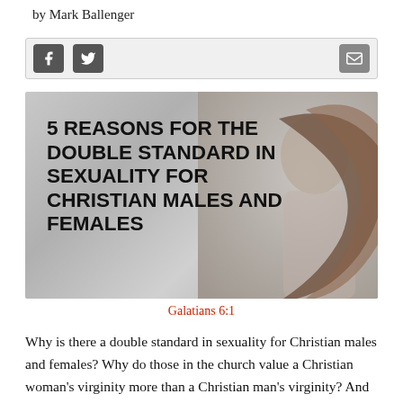by Mark Ballenger
[Figure (infographic): Social sharing bar with Facebook and Twitter icons on the left and an email/envelope icon on the right, on a light gray background]
[Figure (photo): Hero image showing bold black text '5 REASONS FOR THE DOUBLE STANDARD IN SEXUALITY FOR CHRISTIAN MALES AND FEMALES' on a gray background with a woman with long windswept hair on the right side]
Galatians 6:1
Why is there a double standard in sexuality for Christian males and females? Why do those in the church value a Christian woman's virginity more than a Christian man's virginity? And